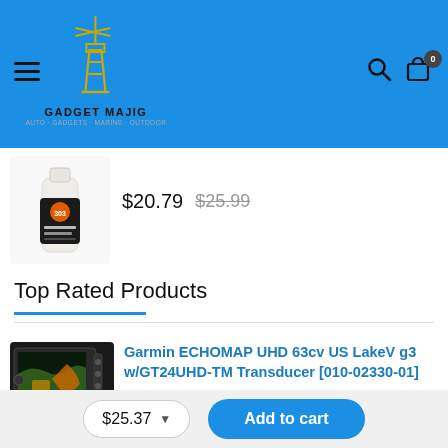[Figure (logo): Gadget Majig lighthouse logo with text 'GADGET MAJIG' and subtitle on blue header background with hamburger menu icon, search icon, and shopping bag icon]
$20.79  $25.99
Top Rated Products
Garmin ECHOMAP UHD 63cv US LakeV g3 w/GT24UHD-TM Transducer [010-02330-01]
$25.37  Add to cart